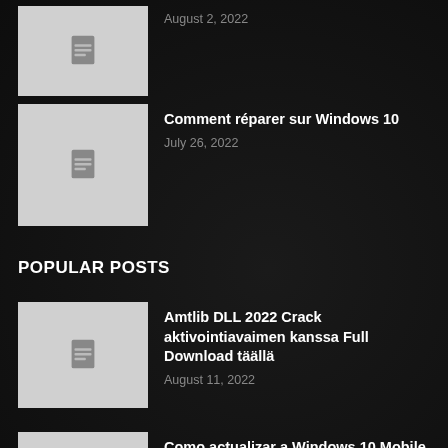[Figure (illustration): Thumbnail placeholder with document icon, top article]
August 2, 2022
[Figure (illustration): Thumbnail placeholder with document icon]
Comment réparer sur Windows 10
July 26, 2022
POPULAR POSTS
[Figure (illustration): Thumbnail placeholder with document icon]
Amtlib DLL 2022 Crack aktivointiavaimen kanssa Full Download täällä
August 11, 2022
[Figure (illustration): Thumbnail placeholder with document icon]
Como actualizar a Windows 10 Mobile
August 2, 2022